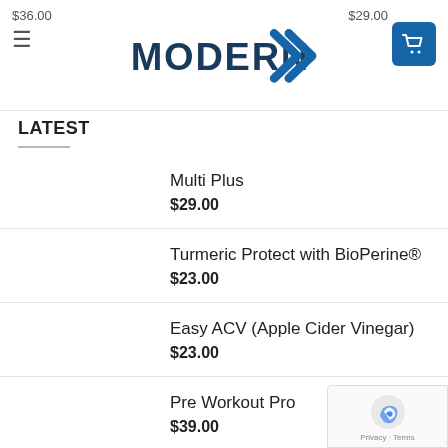$36.00  MODERNX  $29.00
LATEST
Multi Plus
$29.00
Turmeric Protect with BioPerine®
$23.00
Easy ACV (Apple Cider Vinegar)
$23.00
Pre Workout Pro
$39.00